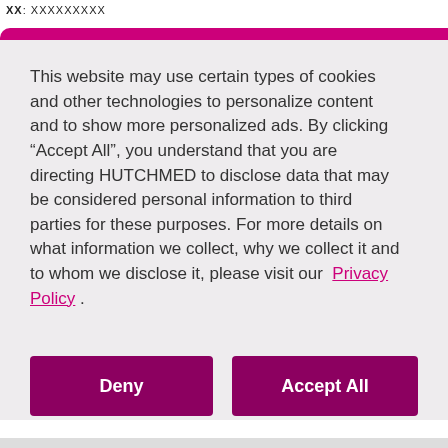XX: XXXXXXXXX
This website may use certain types of cookies and other technologies to personalize content and to show more personalized ads. By clicking “Accept All”, you understand that you are directing HUTCHMED to disclose data that may be considered personal information to third parties for these purposes. For more details on what information we collect, why we collect it and to whom we disclose it, please visit our Privacy Policy .
Deny
Accept All